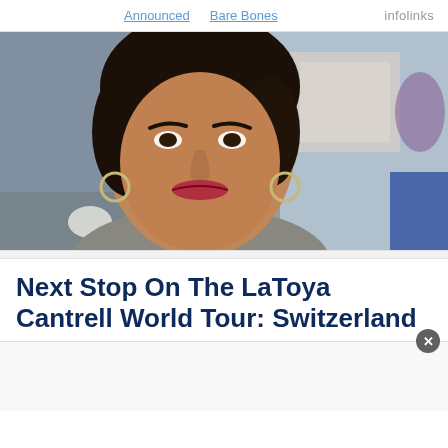Announced   Bare Bones   infolinks
[Figure (photo): Close-up portrait photo of LaToya Cantrell, a woman with short dark curly hair, wearing hoop earrings, looking toward the camera with a slight smile. Background appears to be an outdoor event.]
Next Stop On The LaToya Cantrell World Tour: Switzerland
[Figure (other): Advertisement banner area with a close/dismiss button (X) in the upper right corner.]